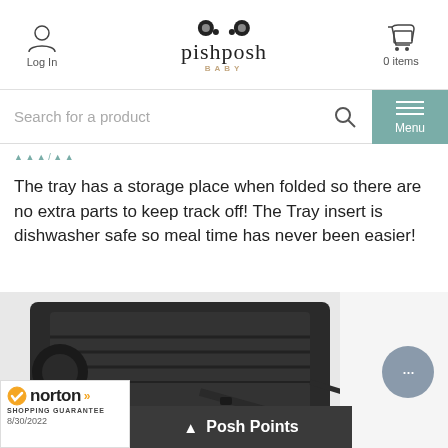Log In | pishposh BABY | 0 items
Search for a product
[Figure (screenshot): Breadcrumb navigation links partially visible]
The tray has a storage place when folded so there are no extra parts to keep track off! The Tray insert is dishwasher safe so meal time has never been easier!
[Figure (photo): Close-up photo of a dark grey high chair tray mechanism showing folding storage hardware]
[Figure (logo): Norton Shopping Guarantee badge dated 8/30/2022]
Posh Points